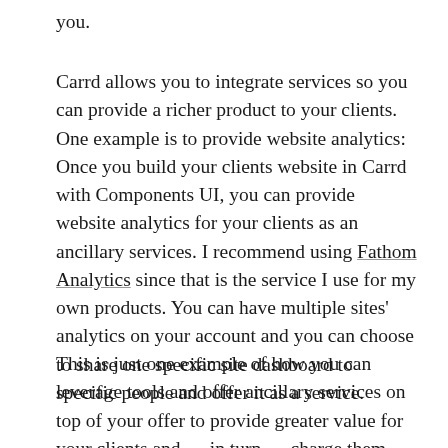you.
Carrd allows you to integrate services so you can provide a richer product to your clients. One example is to provide website analytics: Once you build your clients website in Carrd with Components UI, you can provide website analytics for your clients as an ancillary services. I recommend using Fathom Analytics since that is the service I use for my own products. You can have multiple sites' analytics on your account and you can choose to share one specific site dashboard to specific people and offer it as a service.
This is just one example of how you can leverage tools and offer ancillary services on top of your offer to provide greater value for your clients and — in turn — charge them more for the work.